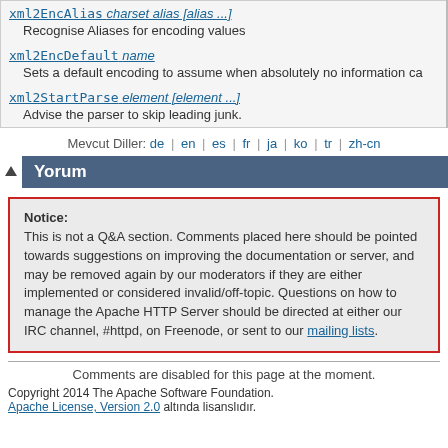| xml2EncAlias charset alias [alias ...] | Recognise Aliases for encoding values |
| xml2EncDefault name | Sets a default encoding to assume when absolutely no information ca |
| xml2StartParse element [element ...] | Advise the parser to skip leading junk. |
Mevcut Diller: de | en | es | fr | ja | ko | tr | zh-cn
Yorum
Notice:
This is not a Q&A section. Comments placed here should be pointed towards suggestions on improving the documentation or server, and may be removed again by our moderators if they are either implemented or considered invalid/off-topic. Questions on how to manage the Apache HTTP Server should be directed at either our IRC channel, #httpd, on Freenode, or sent to our mailing lists.
Comments are disabled for this page at the moment.
Copyright 2014 The Apache Software Foundation.
Apache License, Version 2.0 altında lisanslıdır.